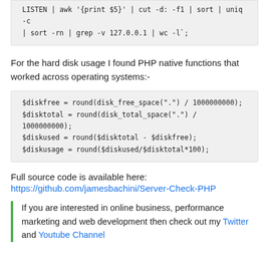LISTEN | awk '{print $5}' | cut -d: -f1 | sort | uniq -c | sort -rn | grep -v 127.0.0.1 | wc -l`;
For the hard disk usage I found PHP native functions that worked across operating systems:-
$diskfree = round(disk_free_space(".") / 1000000000);
$disktotal = round(disk_total_space(".") / 1000000000);
$diskused = round($disktotal - $diskfree);
$diskusage = round($diskused/$disktotal*100);
Full source code is available here:
https://github.com/jamesbachini/Server-Check-PHP
If you are interested in online business, performance marketing and web development then check out my Twitter and Youtube Channel